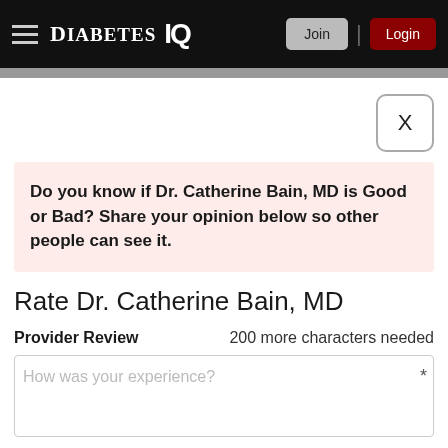DiabetesIQ — Join | Login
[Figure (screenshot): Close button (X) in a rounded rectangle]
Do you know if Dr. Catherine Bain, MD is Good or Bad? Share your opinion below so other people can see it.
Rate Dr. Catherine Bain, MD
Provider Review   200 more characters needed
How was your experience?